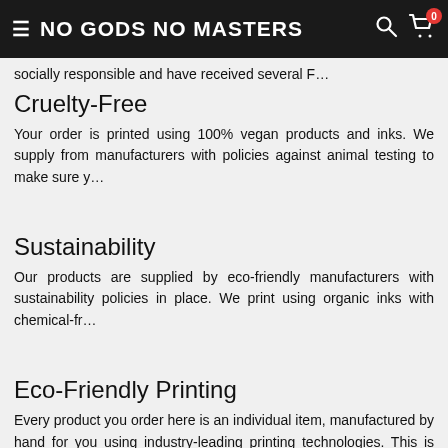NO GODS NO MASTERS
socially responsible and have received several F…
Cruelty-Free
Your order is printed using 100% vegan products and inks. We supply from manufacturers with policies against animal testing to make sure y…
Sustainability
Our products are supplied by eco-friendly manufacturers with sustainability policies in place. We print using organic inks with chemical-fr…
Eco-Friendly Printing
Every product you order here is an individual item, manufactured by hand for you using industry-leading printing technologies. This is wh…